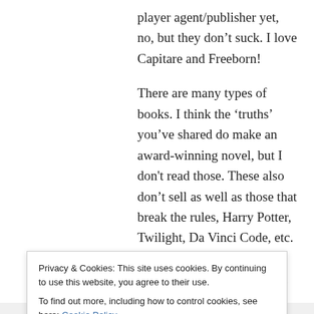player agent/publisher yet, no, but they don't suck. I love Capitare and Freeborn!
There are many types of books. I think the 'truths' you've shared do make an award-winning novel, but I don't read those. These also don't sell as well as those that break the rules, Harry Potter, Twilight, Da Vinci Code, etc. In that way, while they may win awards, these also suck, but on the other end of the spectrum.
Like
Privacy & Cookies: This site uses cookies. By continuing to use this website, you agree to their use.
To find out more, including how to control cookies, see here: Cookie Policy
Close and accept